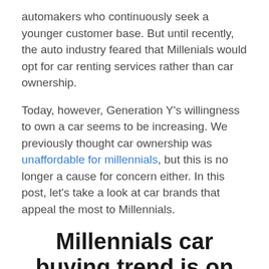automakers who continuously seek a younger customer base. But until recently, the auto industry feared that Millenials would opt for car renting services rather than car ownership.
Today, however, Generation Y's willingness to own a car seems to be increasing. We previously thought car ownership was unaffordable for millennials, but this is no longer a cause for concern either. In this post, let's take a look at car brands that appeal the most to Millennials.
Millennials car buying trend is on the rise